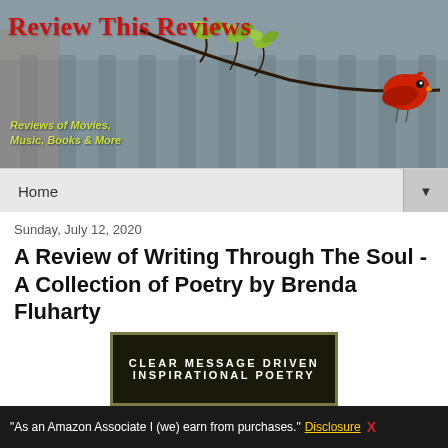Review This Reviews
Reviews of Movies, Music, Books & More
Home
Sunday, July 12, 2020
A Review of Writing Through The Soul - A Collection of Poetry by Brenda Fluharty
[Figure (other): Book cover image showing text: CLEAR MESSAGE DRIVEN INSPIRATIONAL POETRY on dark background with gold border]
"As an Amazon Associate I (we) earn from purchases." Disclosure X